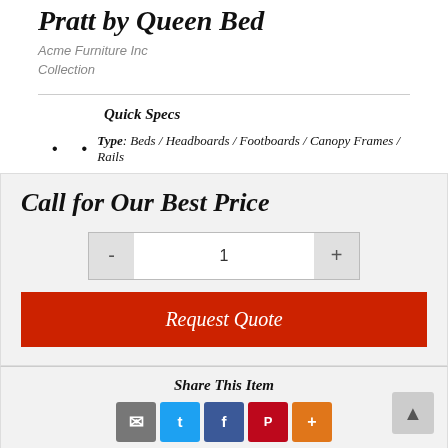Pratt by Queen Bed
Acme Furniture Inc
Collection
Quick Specs
Type: Beds / Headboards / Footboards / Canopy Frames / Rails
Call for Our Best Price
1
Request Quote
Share This Item